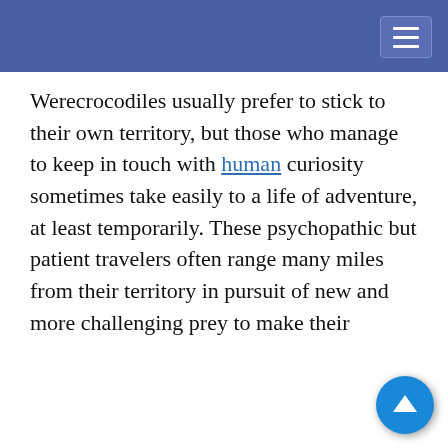Werecrocodiles usually prefer to stick to their own territory, but those who manage to keep in touch with human curiosity sometimes take easily to a life of adventure, at least temporarily. These psychopathic but patient travelers often range many miles from their territory in pursuit of new and more challenging prey to make their
he Moon
3–12)
eaxe, other
This website uses cookies to provide functionality, but which are not used to track your activity. By continuing to use this site, you agree to the use of these cookies.

However, in addition to this, you may opt into your activity being tracked in order to help us improve our service.

For more information, please click here
etermination of a crocodile with the intelligence and adaptability of